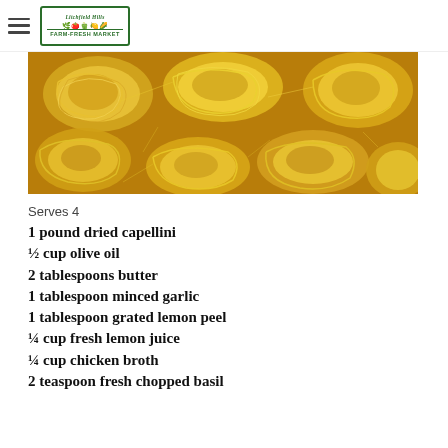Litchfield Hills Farm-Fresh Market
[Figure (photo): Close-up photo of dried capellini pasta nests, golden yellow strands coiled into round nest shapes on a wooden surface]
Serves 4
1 pound dried capellini
½ cup olive oil
2 tablespoons butter
1 tablespoon minced garlic
1 tablespoon grated lemon peel
¼ cup fresh lemon juice
¼ cup chicken broth
2 teaspoon fresh chopped basil